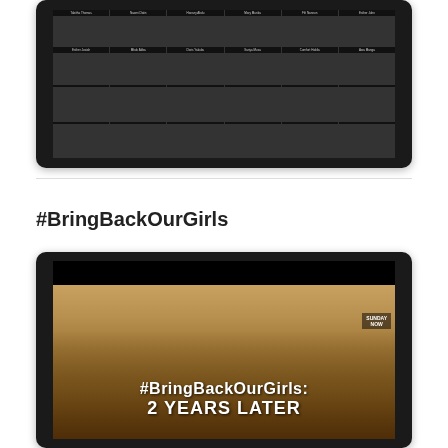[Figure (photo): Tablet/laptop screen showing a grid of portrait photos of kidnapped Chibok girls, arranged in rows with names below each photo]
#BringBackOurGirls
[Figure (screenshot): Tablet/laptop screen showing a video thumbnail with the text '#BringBackOurGirls: 2 YEARS LATER' overlaid on a crowd of women in headscarves, with a news channel logo in top right corner]